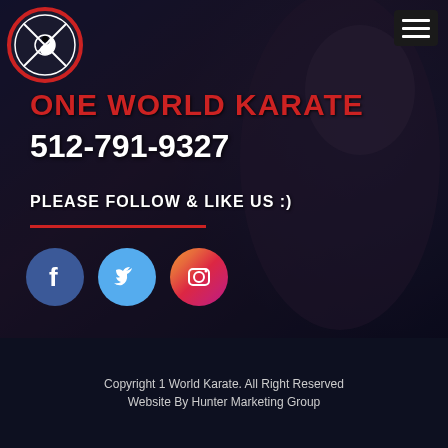[Figure (logo): One World Karate circular logo with red border, featuring a yin-yang and crossed swords design]
[Figure (other): Hamburger menu button (three horizontal lines) in dark box, top right corner]
ONE WORLD KARATE
512-791-9327
PLEASE FOLLOW & LIKE US :)
[Figure (illustration): Three social media icons: Facebook (blue circle with f), Twitter (light blue circle with bird), Instagram (gradient circle with camera)]
Copyright 1 World Karate. All Right Reserved
Website By Hunter Marketing Group